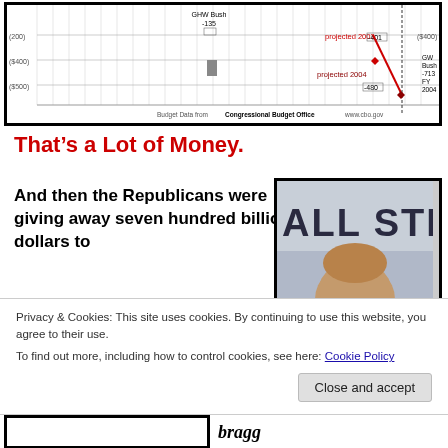[Figure (continuous-plot): Bar/line chart showing US budget surpluses and deficits over time. Labels include 'GHW Bush -135', 'projected 2003 -401', 'GW Bush -713 FY 2004', 'projected 2004 -480'. Y-axis labels ($400), ($500). Source: Budget Data from Congressional Budget Office www.cbo.gov]
That's a Lot of Money.
And then the Republicans were giving away seven hundred billion dollars to
[Figure (photo): Partial photo showing 'ALL STRE' text (Wall Street) and a bald head of a person in foreground]
Privacy & Cookies: This site uses cookies. By continuing to use this website, you agree to their use.
To find out more, including how to control cookies, see here: Cookie Policy
Close and accept
[Figure (other): Bottom partial chart stub with 'bragg' text label]